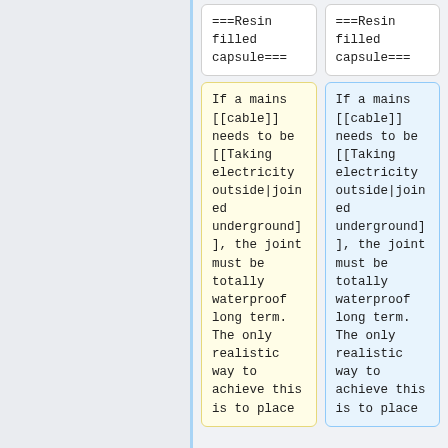===Resin filled capsule===
===Resin filled capsule===
If a mains [[cable]] needs to be [[Taking electricity outside|joined underground]], the joint must be totally waterproof long term. The only realistic way to achieve this is to place
If a mains [[cable]] needs to be [[Taking electricity outside|joined underground]], the joint must be totally waterproof long term. The only realistic way to achieve this is to place